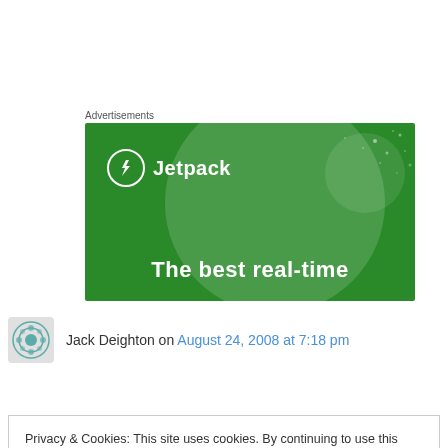Advertisements
[Figure (illustration): Jetpack advertisement banner with green background, Jetpack logo (circle with lightning bolt), and text 'The best real-time']
Jack Deighton on August 24, 2008 at 7:18 pm
Privacy & Cookies: This site uses cookies. By continuing to use this website, you agree to their use.
To find out more, including how to control cookies, see here: Cookie Policy
Close and accept